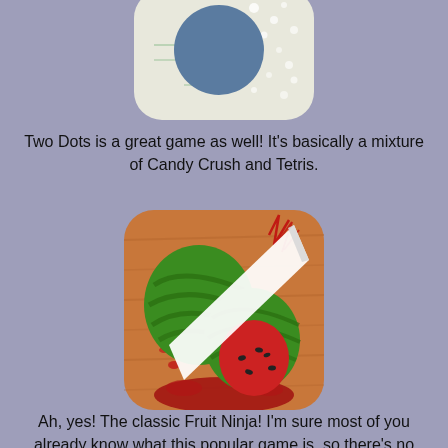[Figure (screenshot): Two Dots app icon: light grey/cream rounded square background with a large dark blue circle in the center, with scattered white dots and faint green lines on the background]
Two Dots is a great game as well! It's basically a mixture of Candy Crush and Tetris.
[Figure (screenshot): Fruit Ninja app icon: wooden cutting board background with a sliced watermelon being cut by a white blade, red juice splashing outward]
Ah, yes! The classic Fruit Ninja! I'm sure most of you already know what this popular game is, so there's no need to